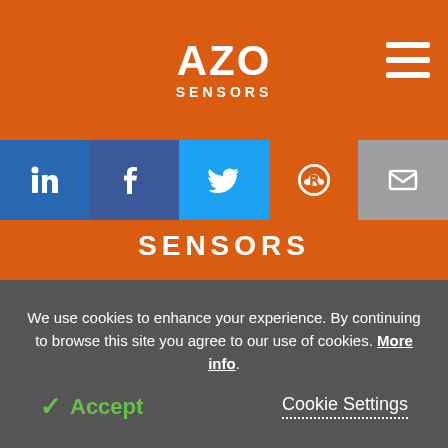AZO SENSORS
[Figure (screenshot): Social media share buttons: LinkedIn, Facebook, Twitter, Reddit, Email]
SENSORS
[Figure (logo): Three circular social media icons: LinkedIn, Facebook, Twitter on orange background]
[Figure (logo): TRUSTe Certified Privacy badge - Powered by TrustArc]
We use cookies to enhance your experience. By continuing to browse this site you agree to our use of cookies. More info.
✓ Accept   Cookie Settings